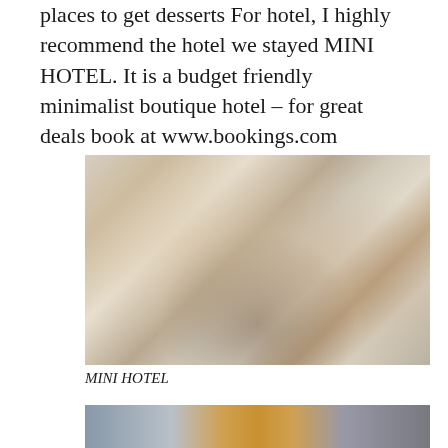places to get desserts For hotel, I highly recommend the hotel we stayed MINI HOTEL. It is a budget friendly minimalist boutique hotel – for great deals book at www.bookings.com
[Figure (photo): Interior of MINI HOTEL lobby with eclectic decor, leather armchairs, round white coffee table, artworks on walls, and a person standing with a backpack]
MINI HOTEL
[Figure (photo): Exterior or partial view of MINI HOTEL building facade]